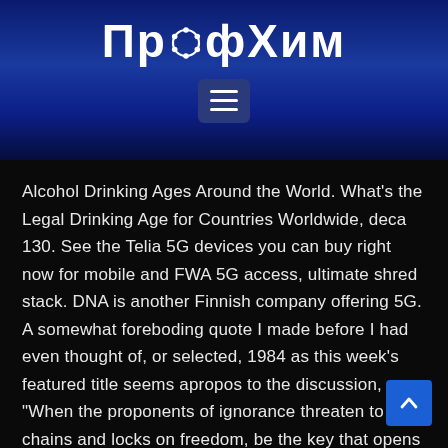ПрофХим
[Figure (other): Hamburger menu button icon (three horizontal lines) on a dark blue rounded rectangle background]
Alcohol Drinking Ages Around the World. What's the Legal Drinking Age for Countries Worldwide, deca 130. See the Telia 5G devices you can buy right now for mobile and FWA 5G access, ultimate shred stack. DNA is another Finnish company offering 5G. A somewhat foreboding quote I made before I had even thought of, or selected, 1984 as this week's featured title seems apropos to the discussion, "When the proponents of ignorance threaten to put chains and locks on freedom, be the key that opens the mind, best sarms for cutting. Sources: American Library Association, Wikipedia, Time magazine,